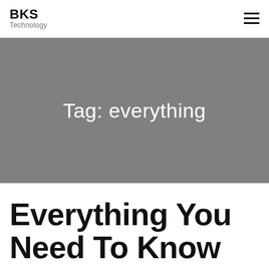BKS Technology
Tag: everything
Everything You Need To Know